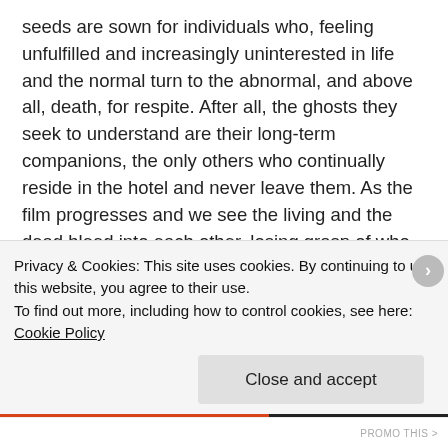seeds are sown for individuals who, feeling unfulfilled and increasingly uninterested in life and the normal turn to the abnormal, and above all, death, for respite. After all, the ghosts they seek to understand are their long-term companions, the only others who continually reside in the hotel and never leave them. As the film progresses and we see the living and the dead bleed into each other, losing grasp of who is controlling who We're aware that West has a master's grasp of the surreal, uncanny nature of horror films and the way they affect by bridging the mundane and the supernatural.For all its ghosts and ghouls, Innkeepers is as much a story about the loneliness and mundane nature of life, and the relationships, both with the living and the dead
Privacy & Cookies: This site uses cookies. By continuing to use this website, you agree to their use.
To find out more, including how to control cookies, see here: Cookie Policy
Close and accept